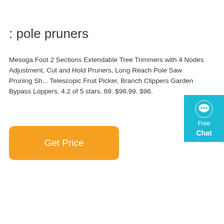: pole pruners
Mesoga Foot 2 Sections Extendable Tree Trimmers with 4 Nodes Adjustment, Cut and Hold Pruners, Long Reach Pole Saw Pruning Sh... Telescopic Fruit Picker, Branch Clippers Garden Bypass Loppers. 4.2 of 5 stars. 69. $96.99. $96.